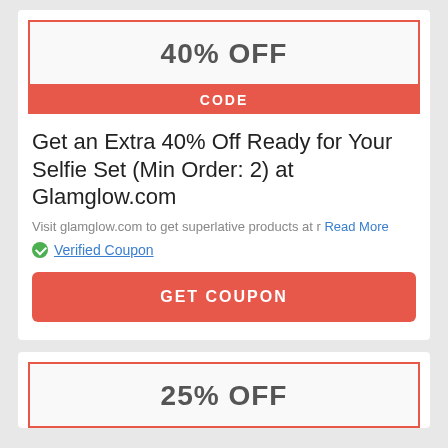40% OFF
CODE
Get an Extra 40% Off Ready for Your Selfie Set (Min Order: 2) at Glamglow.com
Visit glamglow.com to get superlative products at r Read More
Verified Coupon
GET COUPON
25% OFF